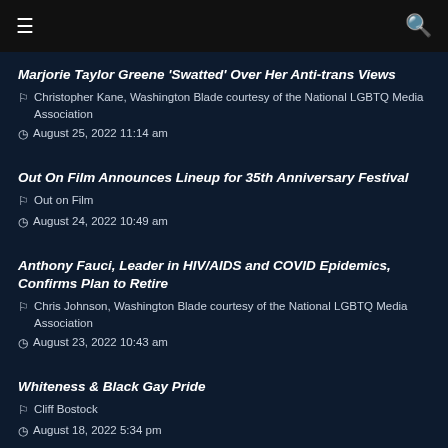☰  🔍
Marjorie Taylor Greene 'Swatted' Over Her Anti-trans Views | Christopher Kane, Washington Blade courtesy of the National LGBTQ Media Association | August 25, 2022 11:14 am
Out On Film Announces Lineup for 35th Anniversary Festival | Out on Film | August 24, 2022 10:49 am
Anthony Fauci, Leader in HIV/AIDS and COVID Epidemics, Confirms Plan to Retire | Chris Johnson, Washington Blade courtesy of the National LGBTQ Media Association | August 23, 2022 10:43 am
Whiteness & Black Gay Pride | Cliff Bostock | August 18, 2022 5:34 pm
Queer Slasher Film 'They/Them' Uses Georgia Locations and Performers